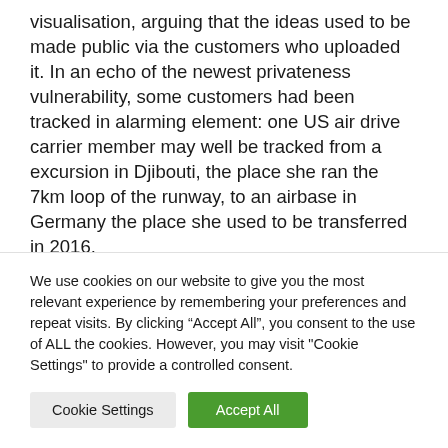visualisation, arguing that the ideas used to be made public via the customers who uploaded it. In an echo of the newest privateness vulnerability, some customers had been tracked in alarming element: one US air drive carrier member may well be tracked from a excursion in Djibouti, the place she ran the 7km loop of the runway, to an airbase in Germany the place she used to be transferred in 2016.
We use cookies on our website to give you the most relevant experience by remembering your preferences and repeat visits. By clicking “Accept All”, you consent to the use of ALL the cookies. However, you may visit "Cookie Settings" to provide a controlled consent.